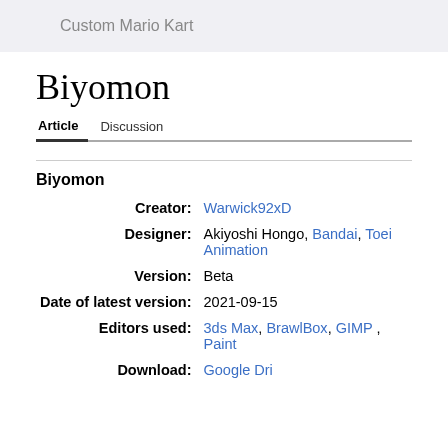Custom Mario Kart
Biyomon
Article   Discussion
| Field | Value |
| --- | --- |
| Biyomon |  |
| Creator: | Warwick92xD |
| Designer: | Akiyoshi Hongo, Bandai, Toei Animation |
| Version: | Beta |
| Date of latest version: | 2021-09-15 |
| Editors used: | 3ds Max, BrawlBox, GIMP , Paint |
| Download: | (Google Drive — cut off) |